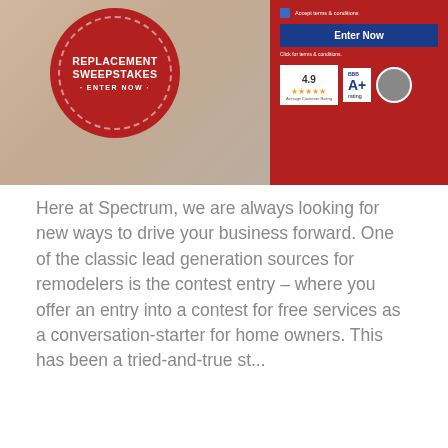[Figure (screenshot): Spectrum Window Replacement Sweepstakes promotional image. Left side shows a red circular badge/seal with text 'REPLACEMENT SWEEPSTAKES · ENTER NOW ·' on a background showing a room interior. Right side has a red panel with a checkbox, blue 'Enter Now' button, link text, and rating badges showing 4.9 stars average customer rating, BBB A+ rating badge, and an award badge.]
Here at Spectrum, we are always looking for new ways to drive your business forward. One of the classic lead generation sources for remodelers is the contest entry – where you offer an entry into a contest for free services as a conversation-starter for home owners. This has been a tried-and-true st...
Early Access: Advanced Optimization with Spectrum